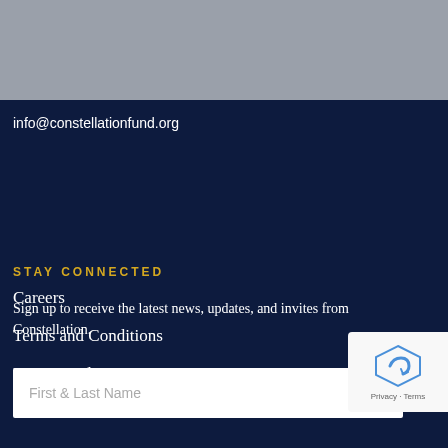[Figure (logo): Constellation Fund logo with yellow geometric symbol and text]
325 N. Washington Ave.
Suite 200
Minneapolis, MN 55401
info@constellationfund.org
Careers
Terms and Conditions
Privacy Policy
STAY CONNECTED
Sign up to receive the latest news, updates, and invites from Constellation.
First & Last Name